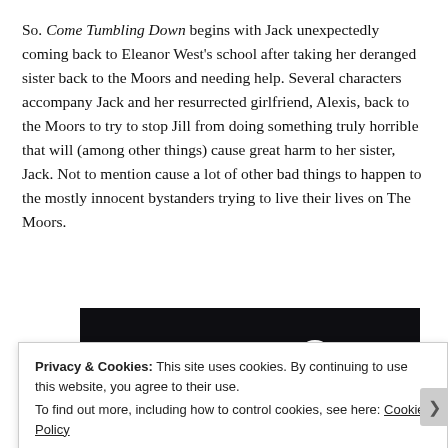So. Come Tumbling Down begins with Jack unexpectedly coming back to Eleanor West's school after taking her deranged sister back to the Moors and needing help. Several characters accompany Jack and her resurrected girlfriend, Alexis, back to the Moors to try to stop Jill from doing something truly horrible that will (among other things) cause great harm to her sister, Jack. Not to mention cause a lot of other bad things to happen to the mostly innocent bystanders trying to live their lives on The Moors.
[Figure (screenshot): Dark banner image with a white circle logo and 'sensei' text in white]
Privacy & Cookies: This site uses cookies. By continuing to use this website, you agree to their use. To find out more, including how to control cookies, see here: Cookie Policy
Close and accept